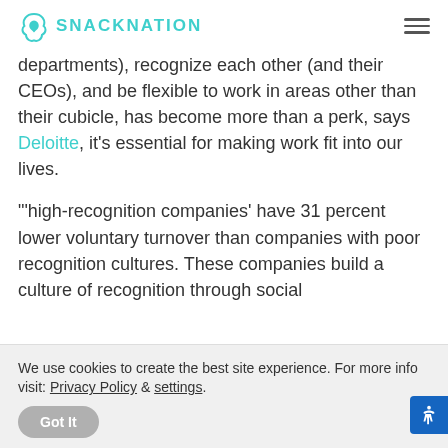SNACKNATION
departments), recognize each other (and their CEOs), and be flexible to work in areas other than their cubicle, has become more than a perk, says Deloitte, it's essential for making work fit into our lives.
"'high-recognition companies' have 31 percent lower voluntary turnover than companies with poor recognition cultures. These companies build a culture of recognition through social
We use cookies to create the best site experience. For more info visit: Privacy Policy & settings.
Got It